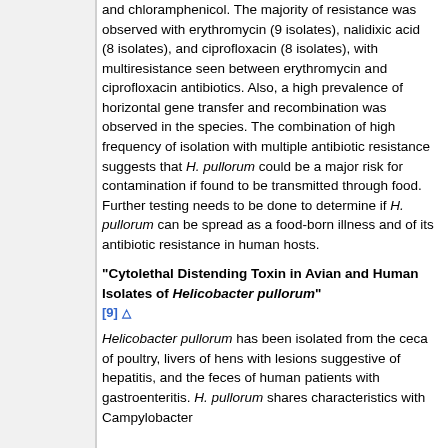and chloramphenicol. The majority of resistance was observed with erythromycin (9 isolates), nalidixic acid (8 isolates), and ciprofloxacin (8 isolates), with multiresistance seen between erythromycin and ciprofloxacin antibiotics. Also, a high prevalence of horizontal gene transfer and recombination was observed in the species. The combination of high frequency of isolation with multiple antibiotic resistance suggests that H. pullorum could be a major risk for contamination if found to be transmitted through food. Further testing needs to be done to determine if H. pullorum can be spread as a food-born illness and of its antibiotic resistance in human hosts.
"Cytolethal Distending Toxin in Avian and Human Isolates of Helicobacter pullorum" [9]
Helicobacter pullorum has been isolated from the ceca of poultry, livers of hens with lesions suggestive of hepatitis, and the feces of human patients with gastroenteritis. H. pullorum shares characteristics with Campylobacter